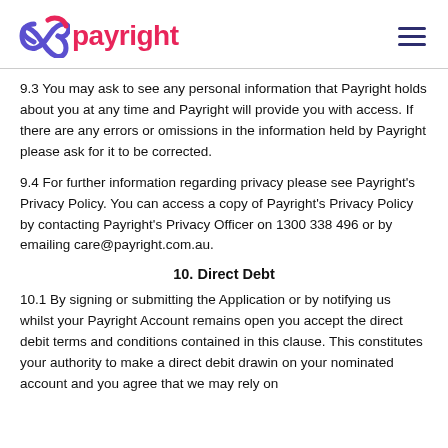payright
9.3 You may ask to see any personal information that Payright holds about you at any time and Payright will provide you with access. If there are any errors or omissions in the information held by Payright please ask for it to be corrected.
9.4 For further information regarding privacy please see Payright's Privacy Policy. You can access a copy of Payright's Privacy Policy by contacting Payright's Privacy Officer on 1300 338 496 or by emailing care@payright.com.au.
10. Direct Debt
10.1 By signing or submitting the Application or by notifying us whilst your Payright Account remains open you accept the direct debit terms and conditions contained in this clause. This constitutes your authority to make a direct debit drawing on your nominated account and you agree that we may rely on